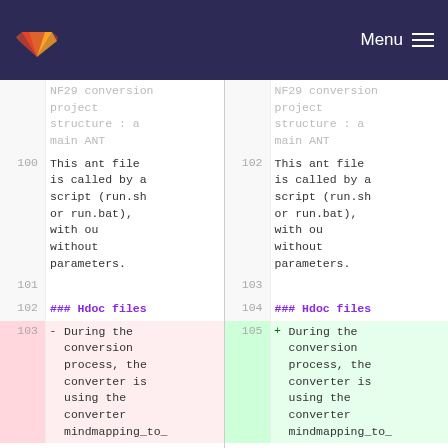Menu (GitLab navigation bar)
| Line (left) | Content (left) | Line (right) | Content (right) |
| --- | --- | --- | --- |
|  | NF29 conversion project structure : a main ANT |  | NF29 conversion project structure : a main ANT |
| 100 | This ant file is called by a script (run.sh or run.bat), with ou without parameters. | 102 | This ant file is called by a script (run.sh or run.bat), with ou without parameters. |
| 101 |  | 103 |  |
| 102 | ### Hdoc files | 104 | ### Hdoc files |
| 103 - | During the conversion process, the converter is using the converter mindmapping_to_ | 105 + | During the conversion process, the converter is using the converter mindmapping_to_ |